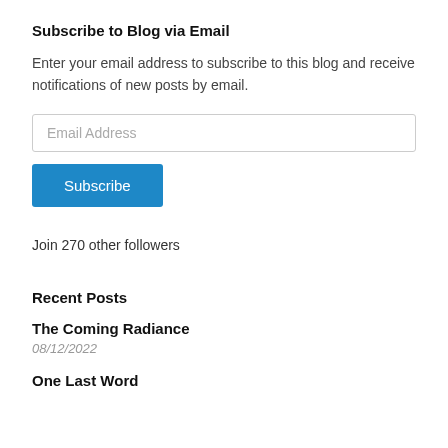Subscribe to Blog via Email
Enter your email address to subscribe to this blog and receive notifications of new posts by email.
[Figure (other): Email address input field with placeholder text 'Email Address']
[Figure (other): Blue Subscribe button]
Join 270 other followers
Recent Posts
The Coming Radiance
08/12/2022
One Last Word